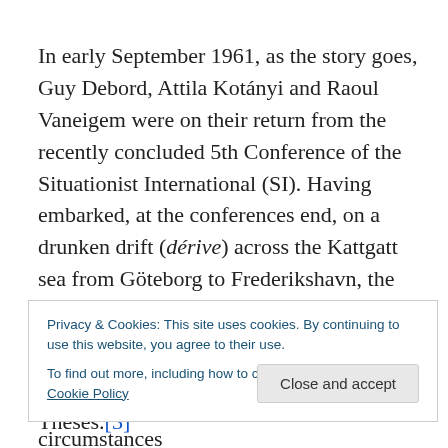In early September 1961, as the story goes, Guy Debord, Attila Kotányi and Raoul Vaneigem were on their return from the recently concluded 5th Conference of the Situationist International (SI). Having embarked, at the conferences end, on a drunken drift (dérive) across the Kattgatt sea from Göteborg to Frederikshavn, the three situationists, in the wake of the acrimonious discussions over what exactly constituted 'anti-situationist' activity (and why artistic activity under current circumstances
Privacy & Cookies: This site uses cookies. By continuing to use this website, you agree to their use.
To find out more, including how to control cookies, see here: Cookie Policy
composed the aptly named Hamburg Theses.[3]